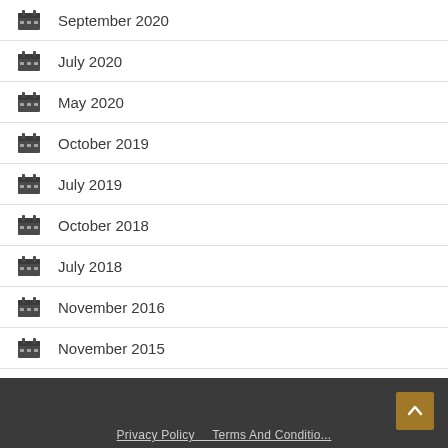September 2020
July 2020
May 2020
October 2019
July 2019
October 2018
July 2018
November 2016
November 2015
August 2014
January 2014
Privacy Policy   Terms And Conditio...